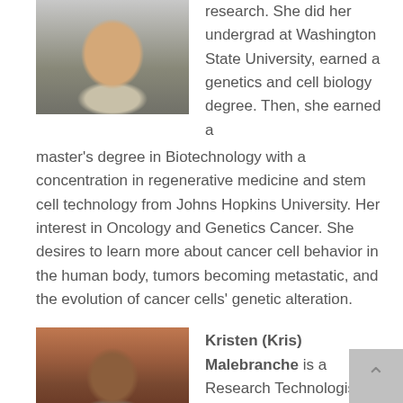[Figure (photo): Headshot of a young woman with long dark hair wearing a light sweater, photographed outdoors]
research. She did her undergrad at Washington State University, earned a genetics and cell biology degree. Then, she earned a master's degree in Biotechnology with a concentration in regenerative medicine and stem cell technology from Johns Hopkins University. Her interest in Oncology and Genetics Cancer. She desires to learn more about cancer cell behavior in the human body, tumors becoming metastatic, and the evolution of cancer cells' genetic alteration.
[Figure (photo): Headshot of a smiling young Black woman with dark hair pulled back, photographed in front of a brick wall]
Kristen (Kris) Malebranche is a Research Technologist. She was 1 out of 15 students accepted into the